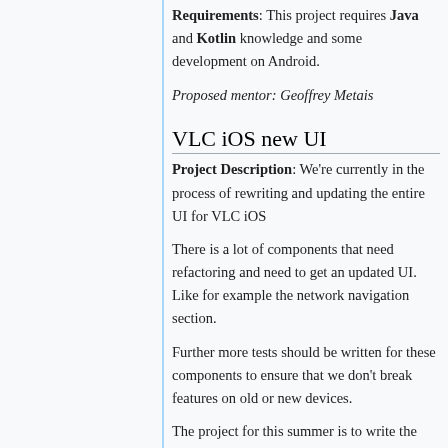Requirements: This project requires Java and Kotlin knowledge and some development on Android.
Proposed mentor: Geoffrey Metais
VLC iOS new UI
Project Description: We're currently in the process of rewriting and updating the entire UI for VLC iOS
There is a lot of components that need refactoring and need to get an updated UI. Like for example the network navigation section.
Further more tests should be written for these components to ensure that we don't break features on old or new devices.
The project for this summer is to write the components in Swift with updated...